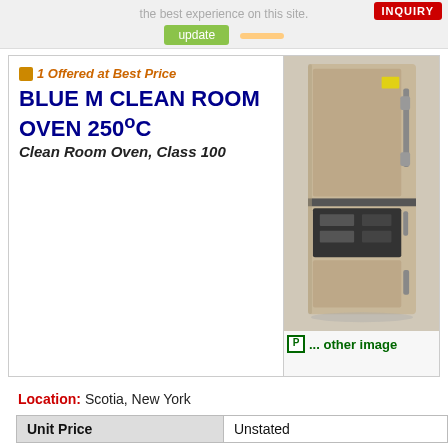Update your browser for more security, speed and the best experience on this site.
BLUE M CLEAN ROOM OVEN 250°C
1 Offered at Best Price
Clean Room Oven, Class 100
[Figure (photo): Photo of a Blue M clean room oven, a tall beige/tan industrial oven with door latches visible and control panel at lower section]
... other image
Location: Scotia, New York
| Unit Price |  |
| --- | --- |
| Unit Price | Unstated |